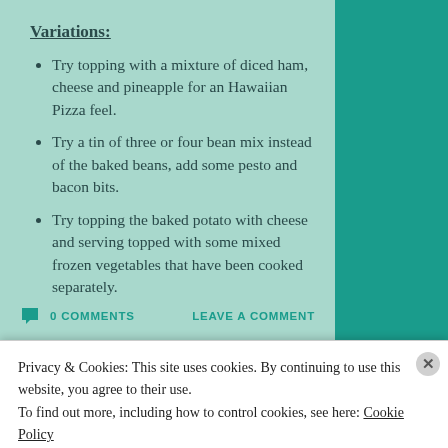Variations:
Try topping with a mixture of diced ham, cheese and pineapple for an Hawaiian Pizza feel.
Try a tin of three or four bean mix instead of the baked beans, add some pesto and bacon bits.
Try topping the baked potato with cheese and serving topped with some mixed frozen vegetables that have been cooked separately.
0 COMMENTS   LEAVE A COMMENT
Privacy & Cookies: This site uses cookies. By continuing to use this website, you agree to their use.
To find out more, including how to control cookies, see here: Cookie Policy
Close and accept